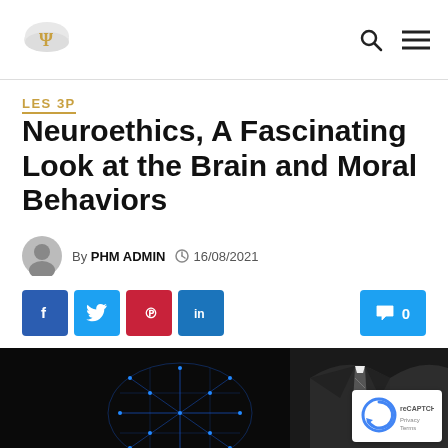Navigation bar with logo and icons
LES 3P
Neuroethics, A Fascinating Look at the Brain and Moral Behaviors
By PHM ADMIN  16/08/2021
Social share buttons: Facebook, Twitter, Pinterest, LinkedIn. Comment count: 0
[Figure (photo): Dark background image showing a glowing blue wireframe brain model on the left and a businessman in a dark suit with a striped tie on the right. A reCAPTCHA widget with Privacy - Terms label is visible in the bottom right corner.]